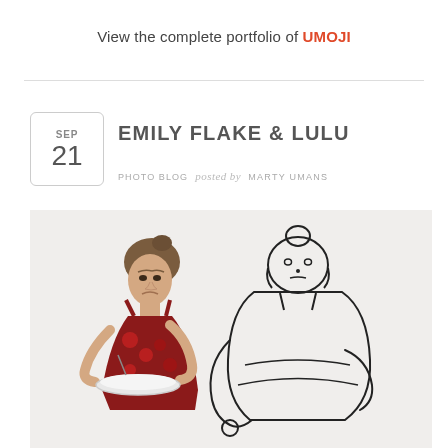View the complete portfolio of UMOJI
EMILY FLAKE & LULU
PHOTO BLOG posted by MARTY UMANS
[Figure (photo): A woman in a red floral dress eating from a plate, next to a cartoon drawing of a large woman leaning forward]